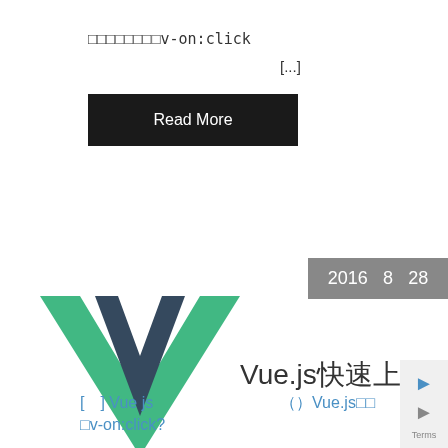□□□□□□□□v-on:click
[...]
Read More
2016  8  28
[Figure (logo): Vue.js green and dark navy V-shaped logo]
Vue.js快速上手
[　]Vue js　　（）Vue.js□□
□v-on:click?